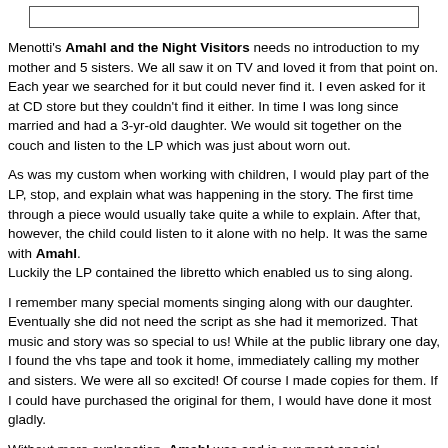[Figure (other): Empty rectangular box at top of page]
Menotti's Amahl and the Night Visitors needs no introduction to my mother and 5 sisters. We all saw it on TV and loved it from that point on. Each year we searched for it but could never find it. I even asked for it at CD store but they couldn't find it either. In time I was long since married and had a 3-yr-old daughter. We would sit together on the couch and listen to the LP which was just about worn out.
As was my custom when working with children, I would play part of the LP, stop, and explain what was happening in the story. The first time through a piece would usually take quite a while to explain. After that, however, the child could listen to it alone with no help. It was the same with Amahl.
Luckily the LP contained the libretto which enabled us to sing along.
I remember many special moments singing along with our daughter. Eventually she did not need the script as she had it memorized. That music and story was so special to us! While at the public library one day, I found the vhs tape and took it home, immediately calling my mother and sisters. We were all so excited! Of course I made copies for them. If I could have purchased the original for them, I would have done it most gladly.
Without more explanation, Amahl was and is our most special Christmas music.